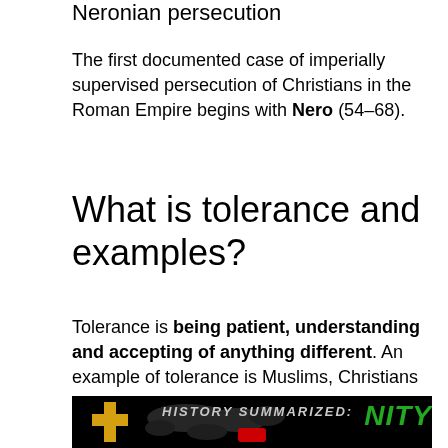Neronian persecution
The first documented case of imperially supervised persecution of Christians in the Roman Empire begins with Nero (54–68).
What is tolerance and examples?
Tolerance is being patient, understanding and accepting of anything different. An example of tolerance is Muslims, Christians and Athiests being friends. noun.
[Figure (screenshot): Thumbnail image with black background showing a golden cross on the left, a world map silhouette in the center, text 'HISTORY SUMMARIZED:' in grey italic caps, a red YouTube play button, and green bold italic text partially visible on the right reading 'NITY'.]